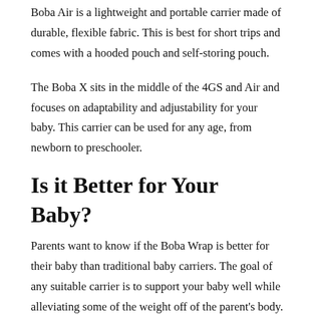Boba Air is a lightweight and portable carrier made of durable, flexible fabric. This is best for short trips and comes with a hooded pouch and self-storing pouch.
The Boba X sits in the middle of the 4GS and Air and focuses on adaptability and adjustability for your baby. This carrier can be used for any age, from newborn to preschooler.
Is it Better for Your Baby?
Parents want to know if the Boba Wrap is better for their baby than traditional baby carriers. The goal of any suitable carrier is to support your baby well while alleviating some of the weight off of the parent's body. The Boba Wrap, if done correctly, can keep the positioning of your baby secure while being respectful to the baby's anatomy.
With a properly secured Boba Wrap, you can ensure proper weight distribution between you and your baby while adapting the classic